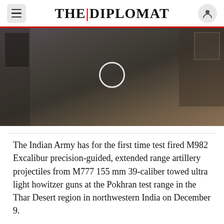THE DIPLOMAT
[Figure (photo): Video screenshot of a man with glasses and a beard wearing a dark blazer, sitting in front of a bookshelf and a framed poster. A white play/loading circle is overlaid in the center of the image.]
The Indian Army has for the first time test fired M982 Excalibur precision-guided, extended range artillery projectiles from M777 155 mm 39-caliber towed ultra light howitzer guns at the Pokhran test range in the Thar Desert region in northwestern India on December 9.
“Today [the Indian Army] conducted test-firing of